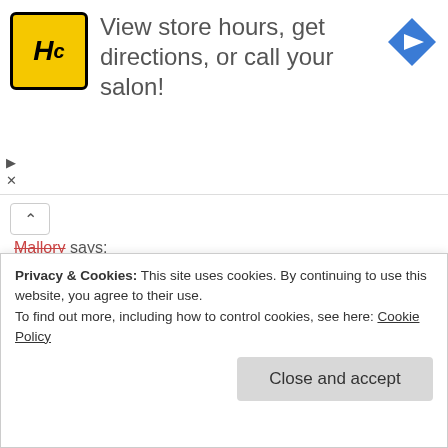[Figure (infographic): Advertisement banner for HC (Hair Club) salon. Yellow logo with HC letters, text 'View store hours, get directions, or call your salon!', blue diamond arrow icon on the right. Play and X controls at bottom left.]
Mallory says:
September 24, 2018 at 12:01 pm
I love anything mushroom! I need to start baking from scratch, this may be where I start.
Jeanie and Lulu's Kitchen says:
Privacy & Cookies: This site uses cookies. By continuing to use this website, you agree to their use.
To find out more, including how to control cookies, see here: Cookie Policy
Close and accept